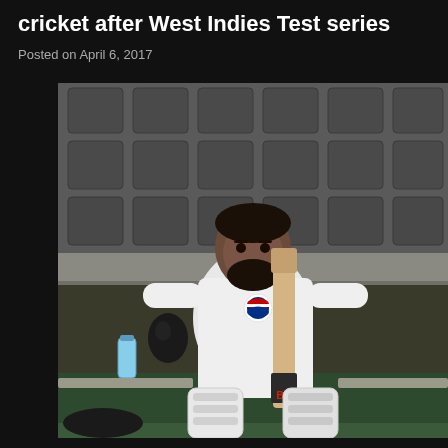cricket after West Indies Test series
Posted on April 6, 2017
[Figure (photo): A cricket player in white Pakistan cricket uniform with Pepsi logo, sitting on a bench in front of stadium seats, holding a cricket bat upright between his legs. He has a beard and is wearing batting pads and gloves.]